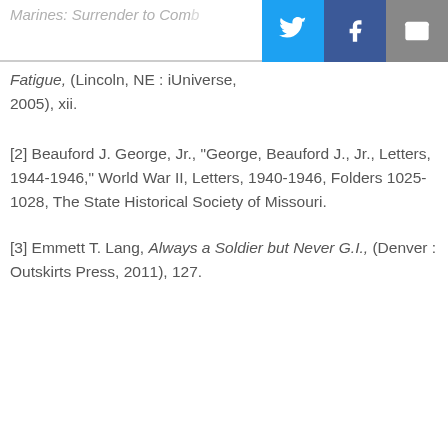Marines: Surrender to Combat Fatigue, (Lincoln, NE : iUniverse, 2005), xii.
[2] Beauford J. George, Jr., "George, Beauford J., Jr., Letters, 1944-1946," World War II, Letters, 1940-1946, Folders 1025-1028, The State Historical Society of Missouri.
[3] Emmett T. Lang, Always a Soldier but Never G.I., (Denver : Outskirts Press, 2011), 127.